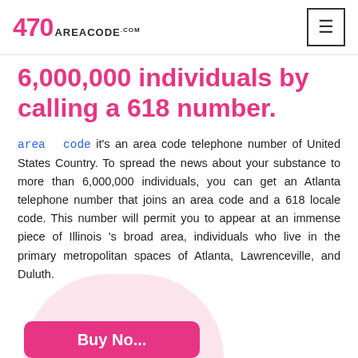470 AREACODE.com
6,000,000 individuals by calling a 618 number.
area code it's an area code telephone number of United States Country. To spread the news about your substance to more than 6,000,000 individuals, you can get an Atlanta telephone number that joins an area code and a 618 locale code. This number will permit you to appear at an immense piece of Illinois 's broad area, individuals who live in the primary metropolitan spaces of Atlanta, Lawrenceville, and Duluth.